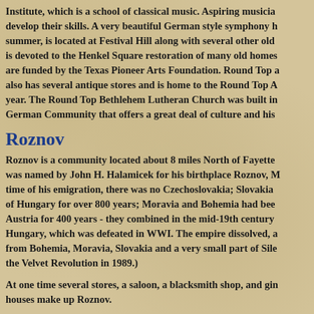Institute, which is a school of classical music. Aspiring musicians develop their skills. A very beautiful German style symphony hall, built in the summer, is located at Festival Hill along with several other old buildings. Work is devoted to the Henkel Square restoration of many old homes and buildings are funded by the Texas Pioneer Arts Foundation. Round Top also has several antique stores and is home to the Round Top Antique Fair twice a year. The Round Top Bethlehem Lutheran Church was built in 1866. Round Top is a German Community that offers a great deal of culture and history.
Roznov
Roznov is a community located about 8 miles North of Fayetteville. It was named by John H. Halamicek for his birthplace Roznov, Moravia. At the time of his emigration, there was no Czechoslovakia; Slovakia was a part of Hungary for over 800 years; Moravia and Bohemia had been a part of Austria for 400 years - they combined in the mid-19th century to form Austria-Hungary, which was defeated in WWI. The empire dissolved, and Czechoslovakia, from Bohemia, Moravia, Slovakia and a very small part of Silesia, was formed. (the Velvet Revolution in 1989.)
At one time several stores, a saloon, a blacksmith shop, and gin and farm houses make up Roznov.
Rutersville